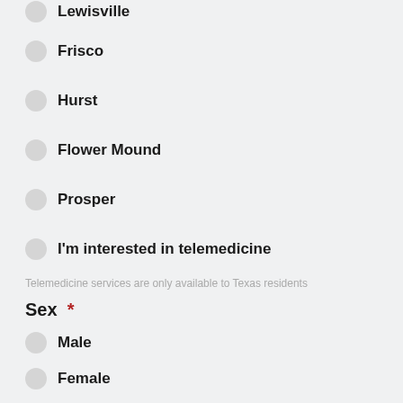Lewisville
Frisco
Hurst
Flower Mound
Prosper
I'm interested in telemedicine
Telemedicine services are only available to Texas residents
Sex *
Male
Female
Next